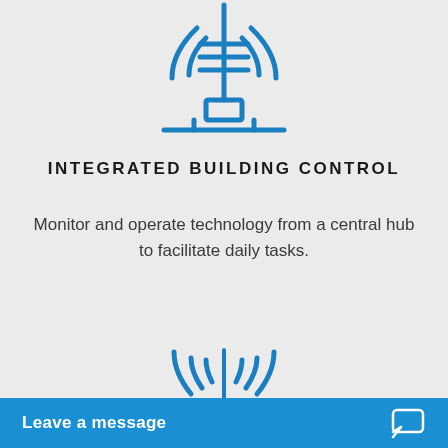[Figure (illustration): Blue line icon of a broadcast tower or antenna with signal waves at top and horizontal bars, mounted on a base, partially visible at top of page]
INTEGRATED BUILDING CONTROL
Monitor and operate technology from a central hub to facilitate daily tasks.
[Figure (illustration): Blue line icon of a WiFi router with signal waves emanating from antenna, showing dots and a dash on front panel, partially visible at bottom of page]
Leave a message